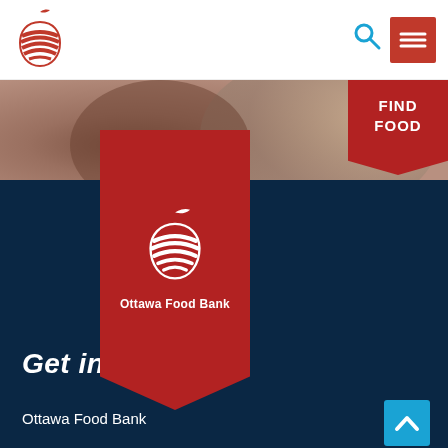[Figure (logo): Ottawa Food Bank red apple logo in header navigation bar]
[Figure (photo): Blurred hero image with warm brown/skin tones, showing a partial face]
[Figure (infographic): Red FIND FOOD banner/badge in top right corner]
[Figure (logo): Ottawa Food Bank white apple logo on red ribbon bookmark shape over dark blue background with text Ottawa Food Bank]
Get in touch
Ottawa Food Bank